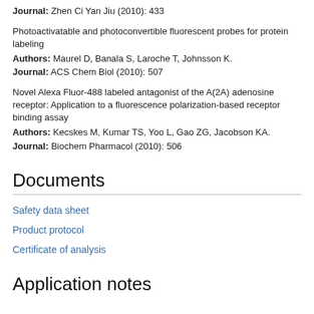Journal: Zhen Ci Yan Jiu (2010): 433
Photoactivatable and photoconvertible fluorescent probes for protein labeling
Authors: Maurel D, Banala S, Laroche T, Johnsson K.
Journal: ACS Chem Biol (2010): 507
Novel Alexa Fluor-488 labeled antagonist of the A(2A) adenosine receptor: Application to a fluorescence polarization-based receptor binding assay
Authors: Kecskes M, Kumar TS, Yoo L, Gao ZG, Jacobson KA.
Journal: Biochem Pharmacol (2010): 506
Documents
Safety data sheet
Product protocol
Certificate of analysis
Application notes